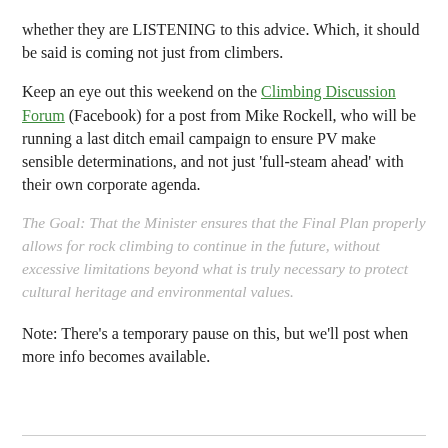whether they are LISTENING to this advice. Which, it should be said is coming not just from climbers.
Keep an eye out this weekend on the Climbing Discussion Forum (Facebook) for a post from Mike Rockell, who will be running a last ditch email campaign to ensure PV make sensible determinations, and not just 'full-steam ahead' with their own corporate agenda.
The Goal: That the Minister ensures that the Final Plan properly allows for rock climbing to continue in the future, without excessive limitations beyond what is truly necessary to protect cultural heritage and environmental values.
Note: There's a temporary pause on this, but we'll post when more info becomes available.